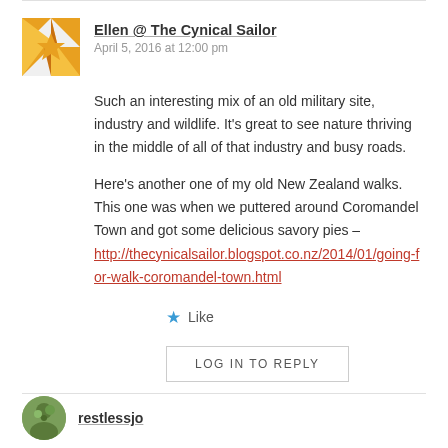Ellen @ The Cynical Sailor
April 5, 2016 at 12:00 pm
Such an interesting mix of an old military site, industry and wildlife. It's great to see nature thriving in the middle of all of that industry and busy roads.
Here's another one of my old New Zealand walks. This one was when we puttered around Coromandel Town and got some delicious savory pies – http://thecynicalsailor.blogspot.co.nz/2014/01/going-for-walk-coromandel-town.html
Like
LOG IN TO REPLY
restlessjo